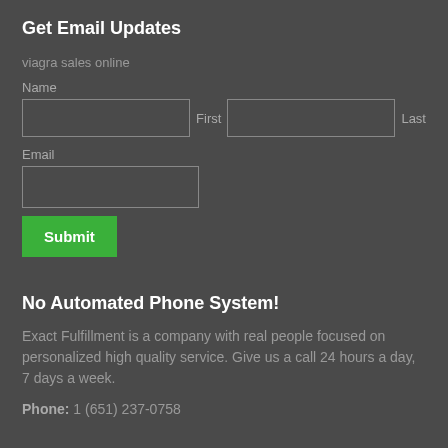Get Email Updates
viagra sales online
Name
First   Last
Email
[Figure (other): Email signup form with Name (First, Last) and Email fields, and a green Submit button]
No Automated Phone System!
Exact Fulfillment is a company with real people focused on personalized high quality service. Give us a call 24 hours a day, 7 days a week.
Phone: 1 (651) 237-0758